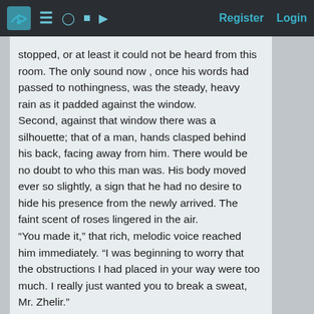Register  Login
stopped, or at least it could not be heard from this room. The only sound now , once his words had passed to nothingness, was the steady, heavy rain as it padded against the window.
Second, against that window there was a silhouette; that of a man, hands clasped behind his back, facing away from him. There would be no doubt to who this man was. His body moved ever so slightly, a sign that he had no desire to hide his presence from the newly arrived. The faint scent of roses lingered in the air.
“You made it,” that rich, melodic voice reached him immediately. “I was beginning to worry that the obstructions I had placed in your way were too much. I really just wanted you to break a sweat, Mr. Zhelir.”
*His body relaxed, his figure leaning back against the now closed doors. To Treize, it would be evident that every muscle in his body was wired to move if it was required. He moved once more,